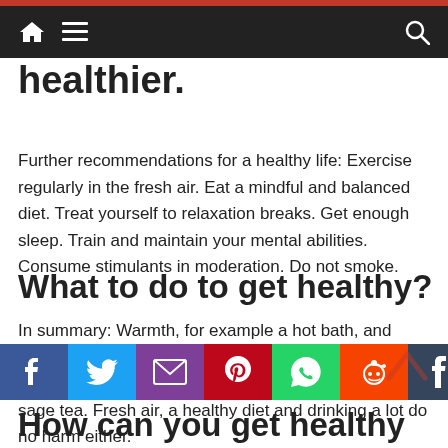healthier.
Further recommendations for a healthy life: Exercise regularly in the fresh air. Eat a mindful and balanced diet. Treat yourself to relaxation breaks. Get enough sleep. Train and maintain your mental abilities. Consume stimulants in moderation. Do not smoke.
What to do to get healthy?
In summary: Warmth, for example a hot bath, and plenty of rest are good tips when you have a cold. You can relieve a sore throat with a cold by gargling with sage tea. Fresh air, a healthy diet and drinking a lot do no harm either.
[Figure (other): Social media share buttons: Facebook, Twitter, Email, Pinterest, WhatsApp, Reddit, Tumblr, Add]
How can you get healthy